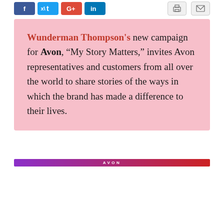[Figure (screenshot): Social media share buttons: Facebook (blue), Twitter (light blue), Google+ (red), LinkedIn (dark blue), and two utility buttons (print, email) on white background]
Wunderman Thompson's new campaign for Avon, “My Story Matters,” invites Avon representatives and customers from all over the world to share stories of the ways in which the brand has made a difference to their lives.
[Figure (logo): Avon logo banner with gradient background from purple to red, white AVON text centered]